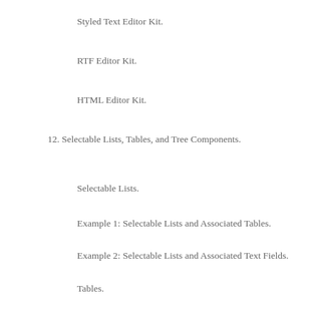Styled Text Editor Kit.
RTF Editor Kit.
HTML Editor Kit.
12. Selectable Lists, Tables, and Tree Components.
Selectable Lists.
Example 1: Selectable Lists and Associated Tables.
Example 2: Selectable Lists and Associated Text Fields.
Tables.
Table Appearance.
Table Scrolling.
Column Reordering.
Column Resizing.